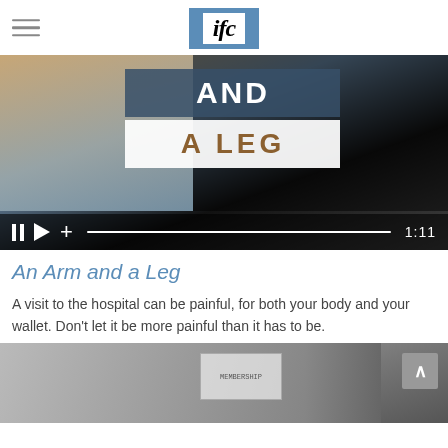ifc
[Figure (screenshot): Video player showing 'AND A LEG' title card with video controls showing pause, play, plus icons, a progress bar, and timestamp 1:11]
An Arm and a Leg
A visit to the hospital can be painful, for both your body and your wallet. Don't let it be more painful than it has to be.
[Figure (photo): Partial view of a card or document, partially visible at bottom of page]